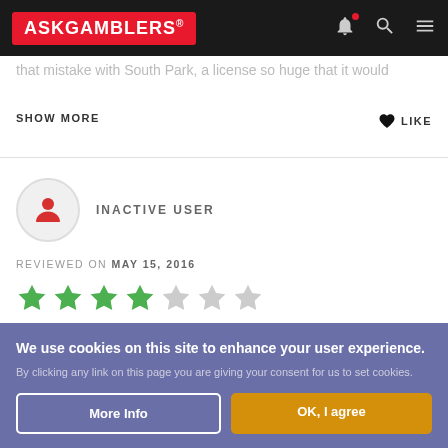ASKGAMBLERS®
that mistake with South Park, a license so huge that it would
SHOW MORE
♥ LIKE
INACTIVE USER
REVIEWED ON MAY 15, 2016
[Figure (other): Star rating: 4 out of 7 stars filled green]
We use cookies on this site to enhance your user experience. By clicking any link on this page you are giving your consent for us to set cookies.
More Info
OK, I agree